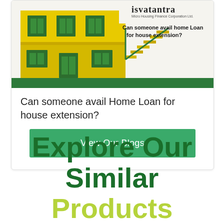[Figure (illustration): Isavatantra Micro Housing Finance Corporation Ltd. blog card image showing a yellow two-storey house illustration on the left and text 'Can someone avail home Loan for house extension?' on the right with the Isavatantra logo at top.]
Can someone avail Home Loan for house extension?
View Our Blogs
Explore Our Similar Products